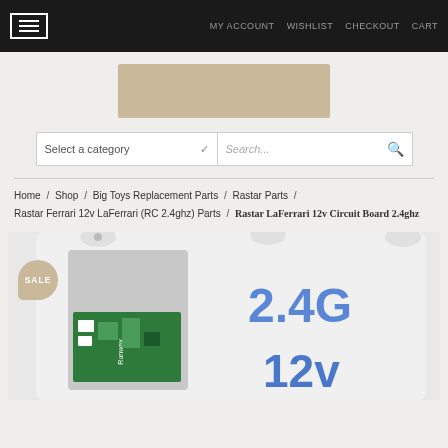MY ACCOUNT  WISHLIST  CHECKOUT  CART
[Figure (logo): Store logo placeholder - tan/beige rectangle]
[Figure (screenshot): Category dropdown selector and search input bar]
Home / Shop / Big Toys Replacement Parts / Rastar Parts / Rastar Ferrari 12v LaFerrari (RC 2.4ghz) Parts / Rastar LaFerrari 12v Circuit Board 2.4ghz
[Figure (photo): Photo of a white plastic circuit board enclosure with blue handwritten text reading 2.4G and 12v, with a green PCB visible inside. A SALE badge is in the lower left corner.]